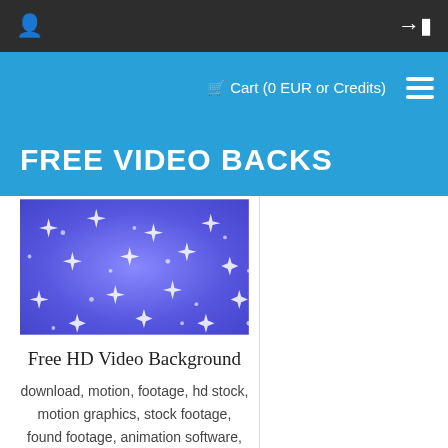Cart (0 EUR or Credits)
FREE VIDEO BACKS
[Figure (photo): Blue and purple abstract sparkle/star burst video background thumbnail]
Free HD Video Background
download, motion, footage, hd stock, motion graphics, stock footage, found footage, animation software, backgrounds, motion design, stock video, stock footage, video background, motion graphic, green screen backgrounds, motion